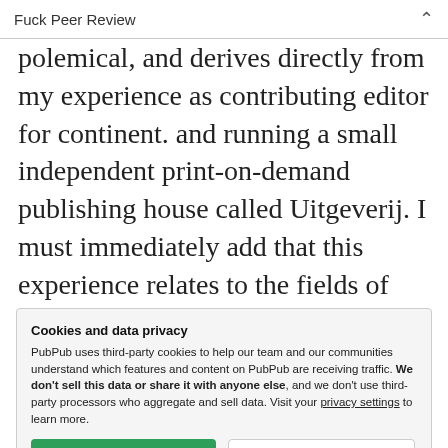Fuck Peer Review
polemical, and derives directly from my experience as contributing editor for continent. and running a small independent print-on-demand publishing house called Uitgeverij. I must immediately add that this experience relates to the fields of philosophy, philology, critical theory, and adjacent
Cookies and data privacy
PubPub uses third-party cookies to help our team and our communities understand which features and content on PubPub are receiving traffic. We don't sell this data or share it with anyone else, and we don't use third-party processors who aggregate and sell data. Visit your privacy settings to learn more.
pseudo-empirical data.